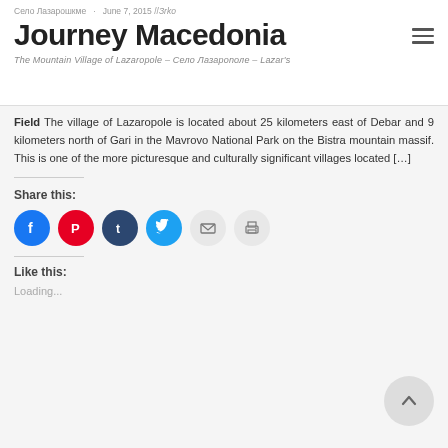Journey Macedonia
Село Лазарошкме · June 7, 2015 by Зrko
Journey Macedonia
The Mountain Village of Lazaropole – Село Лазарополе – Lazar's Field
The village of Lazaropole is located about 25 kilometers east of Debar and 9 kilometers north of Gari in the Mavrovo National Park on the Bistra mountain massif. This is one of the more picturesque and culturally significant villages located […]
Share this:
[Figure (infographic): Social sharing buttons: Facebook (blue circle), Pinterest (red circle), Tumblr (dark blue circle), Twitter (light blue circle), Email (grey circle), Print (grey circle)]
Like this:
Loading...